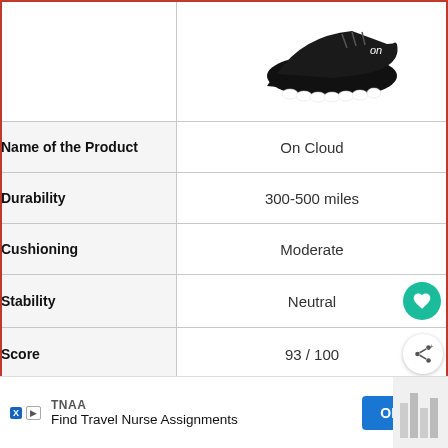[Figure (photo): Black On Cloud running shoe photographed from the side on white background, top right quadrant]
| Attribute | Value |
| --- | --- |
| Name of the Product | On Cloud |
| Durability | 300-500 miles |
| Cushioning | Moderate |
| Stability | Neutral |
| Score | 93 / 100 |
| Price for Women | Price at [button] |
| Price for Men (partial) |  |
[Figure (screenshot): WHAT'S NEXT callout overlay showing On Cloud vs HOKA for... with thumbnail image]
[Figure (screenshot): Advertisement banner: TNAA Find Travel Nurse Assignments with OPEN button]